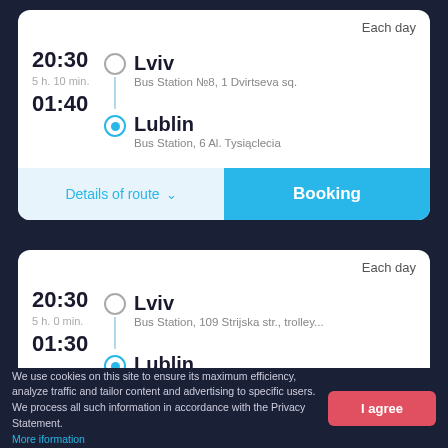Each day
20:30 Lviv Bus Station №8, 1 Dvirtseva sq.
5 h. 10 min.
01:40 Lublin Bus Station, 6 Al. Tysiąclecia
Details of route
Booking
Each day
20:30 Lviv Bus Station, 109 Strijska str., trolley...
5 h. 0 min.
01:30 Lublin Bus Station, 6 Al. Tysiąclecia
We use cookies on this site to ensure its maximum efficiency, analyze traffic and tailor content and advertising to specific users. We process all such information in accordance with the Privacy Statement. More iformation
I agree